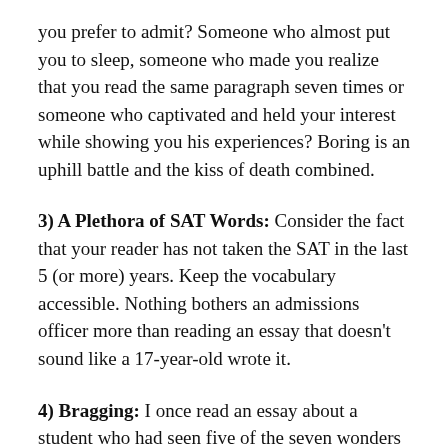you prefer to admit? Someone who almost put you to sleep, someone who made you realize that you read the same paragraph seven times or someone who captivated and held your interest while showing you his experiences? Boring is an uphill battle and the kiss of death combined.
3) A Plethora of SAT Words: Consider the fact that your reader has not taken the SAT in the last 5 (or more) years. Keep the vocabulary accessible. Nothing bothers an admissions officer more than reading an essay that doesn't sound like a 17-year-old wrote it.
4) Bragging: I once read an essay about a student who had seen five of the seven wonders of the world. Impressive right? No, not impressive at all. It said more about his parents' bank account than his actual accomplishments. Bragging just doesn't come off well.